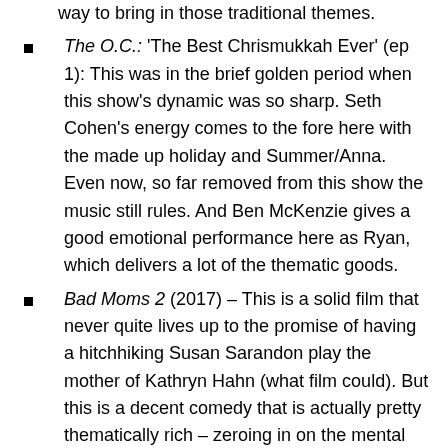way to bring in those traditional themes.
The O.C.: 'The Best Chrismukkah Ever' (ep 1): This was in the brief golden period when this show's dynamic was so sharp. Seth Cohen's energy comes to the fore here with the made up holiday and Summer/Anna. Even now, so far removed from this show the music still rules. And Ben McKenzie gives a good emotional performance here as Ryan, which delivers a lot of the thematic goods.
Bad Moms 2 (2017) – This is a solid film that never quite lives up to the promise of having a hitchhiking Susan Sarandon play the mother of Kathryn Hahn (what film could). But this is a decent comedy that is actually pretty thematically rich – zeroing in on the mental load on women during the season. Let's face it, Christmas can be fuckin stressful and most of that falls